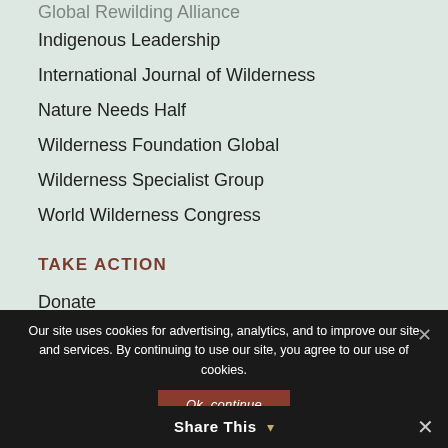Global Rewilding Alliance
Indigenous Leadership
International Journal of Wilderness
Nature Needs Half
Wilderness Foundation Global
Wilderness Specialist Group
World Wilderness Congress
TAKE ACTION
Donate
Current Campaign
Our site uses cookies for advertising, analytics, and to improve our site and services. By continuing to use our site, you agree to our use of cookies.
Ok, continue
Share This